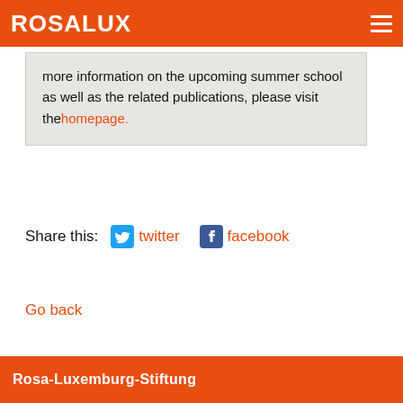ROSALUX
more information on the upcoming summer school as well as the related publications, please visit the homepage.
Share this: twitter facebook
Go back
Rosa-Luxemburg-Stiftung